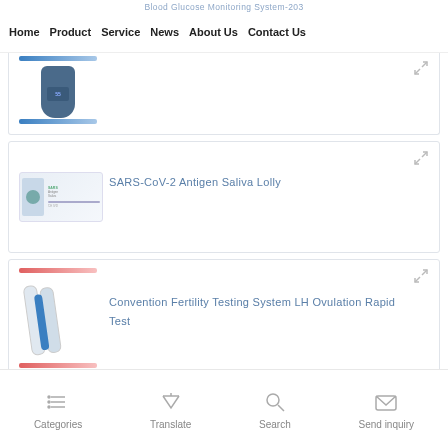Blood Glucose Monitoring System-203
Home   Product   Service   News   About Us   Contact Us
[Figure (photo): Product card with blue gradient stripe and small device image (partially visible at top)]
[Figure (photo): SARS-CoV-2 Antigen Saliva Lolly test kit box image]
SARS-CoV-2 Antigen Saliva Lolly
[Figure (photo): Fertility testing strip/ovulation rapid test product image with pink and blue stripes]
Convention Fertility Testing System LH Ovulation Rapid Test
[Figure (photo): Blood glucose monitoring device bottle-shaped image with blue stripe]
Blood Glucose Monitoring System-203
Categories   Translate   Search   Send inquiry